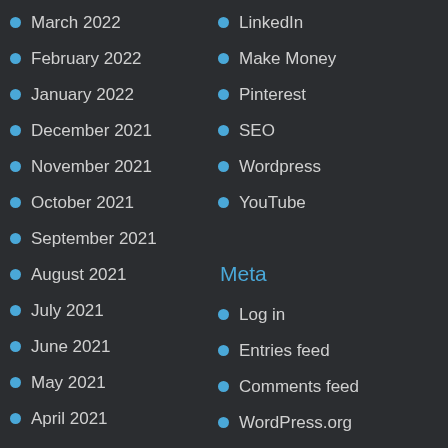March 2022
LinkedIn
February 2022
Make Money
January 2022
Pinterest
December 2021
SEO
November 2021
Wordpress
October 2021
YouTube
September 2021
August 2021
Meta
July 2021
Log in
June 2021
Entries feed
May 2021
Comments feed
April 2021
WordPress.org
March 2021
February 2021
January 2021